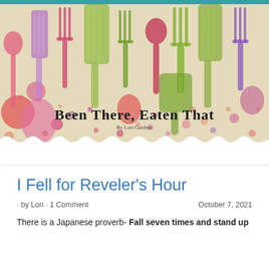[Figure (illustration): Colorful illustrated blog header banner with kitchen utensils (spoons, forks, spatulas) in pink, purple, green, and red watercolor style on a beige background. Blog title 'Been There, Eaten That' by Lori Gardner written in bold handwritten font at the bottom of the illustration.]
I Fell for Reveler's Hour
· by Lori · 1 Comment    October 7, 2021
There is a Japanese proverb- Fall seven times and stand up